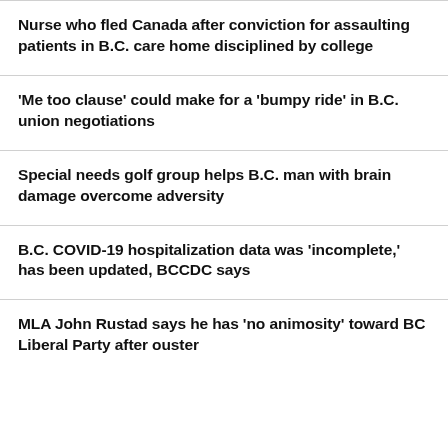Nurse who fled Canada after conviction for assaulting patients in B.C. care home disciplined by college
'Me too clause' could make for a 'bumpy ride' in B.C. union negotiations
Special needs golf group helps B.C. man with brain damage overcome adversity
B.C. COVID-19 hospitalization data was 'incomplete,' has been updated, BCCDC says
MLA John Rustad says he has 'no animosity' toward BC Liberal Party after ouster